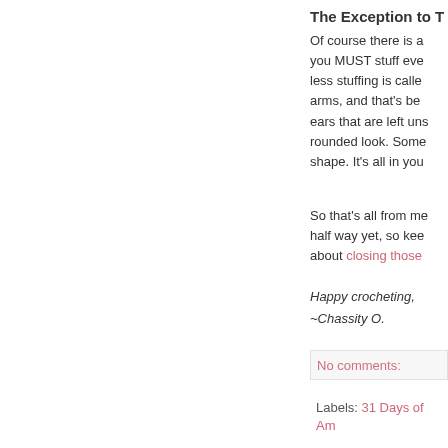The Exception to T
Of course there is a you MUST stuff eve less stuffing is calle arms, and that's be ears that are left un rounded look. Some shape. It's all in you
So that's all from me half way yet, so kee about closing those
Happy crocheting, ~Chassity O.
No comments:
Labels: 31 Days of Am